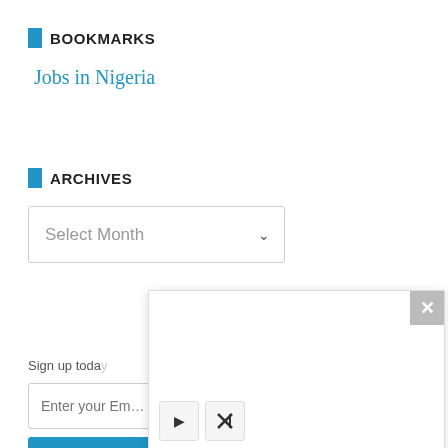BOOKMARKS
Jobs in Nigeria
ARCHIVES
[Figure (screenshot): A dropdown select box labeled 'Select Month' with a Sumo badge popup overlay and a modal/popup window with a close button and playback controls]
Sign up today
Enter your Email